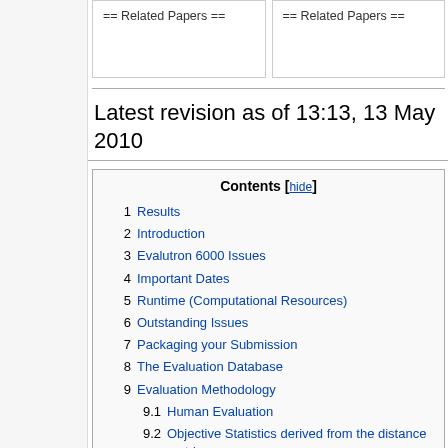== Related Papers ==
== Related Papers ==
Latest revision as of 13:13, 13 May 2010
| Contents [hide] |
| --- |
| 1 Results |
| 2 Introduction |
| 3 Evalutron 6000 Issues |
| 4 Important Dates |
| 5 Runtime (Computational Resources) |
| 6 Outstanding Issues |
| 7 Packaging your Submission |
| 8 The Evaluation Database |
| 9 Evaluation Methodology |
| 9.1 Human Evaluation |
| 9.2 Objective Statistics derived from the distance matrix |
| 9.3 Additional Data Reported |
| 10 Submission Format |
| 10.1 One Call Format |